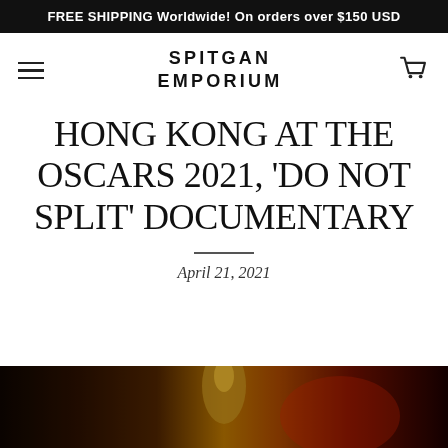FREE SHIPPING Worldwide! On orders over $150 USD
SPITGAN EMPORIUM
HONG KONG AT THE OSCARS 2021, 'DO NOT SPLIT' DOCUMENTARY
April 21, 2021
[Figure (photo): Dark photo showing a nighttime scene with golden and red tones, partially visible at the bottom of the page]